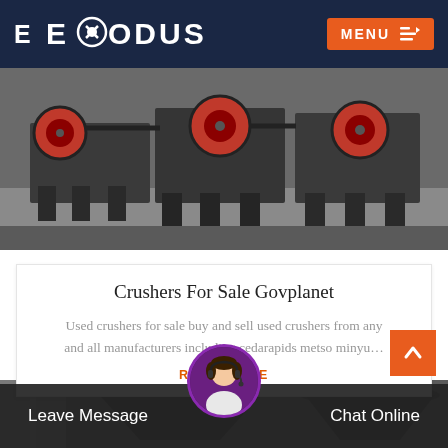EXODUS | MENU
[Figure (photo): Industrial jaw crushers/machinery with red wheels on factory floor]
Crushers For Sale Govplanet
Used crushers for sale buy and sell used crushers from any and all manufacturers including cedarapids metso minyu…
READ MORE
[Figure (photo): Large dark industrial cone crusher/machinery inside a warehouse]
Leave Message | Chat Online